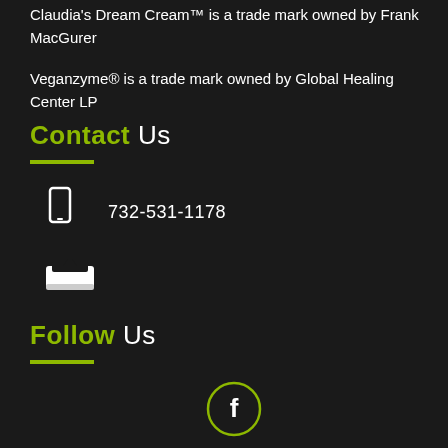Claudia's Dream Cream™ is a trade mark owned by Frank MacGurer
Veganzyme® is a trade mark owned by Global Healing Center LP
Contact Us
732-531-1178
[Figure (other): Inbox/mail tray icon]
Follow Us
[Figure (other): Facebook circle icon]